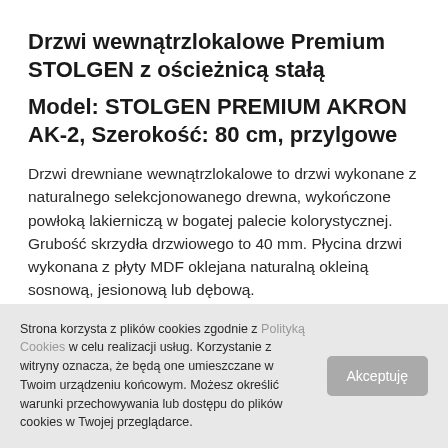Drzwi wewnątrzlokalowe Premium STOLGEN z ościeżnicą stałą
Model: STOLGEN PREMIUM AKRON AK-2, Szerokość: 80 cm, przylgowe
Drzwi drewniane wewnątrzlokalowe to drzwi wykonane z naturalnego selekcjonowanego drewna, wykończone powłoką lakierniczą w bogatej palecie kolorystycznej. Grubość skrzydła drzwiowego to 40 mm. Płycina drzwi wykonana z płyty MDF oklejana naturalną okleiną sosnową, jesionową lub dębową.
Strona korzysta z plików cookies zgodnie z Polityką Cookies w celu realizacji usług. Korzystanie z witryny oznacza, że będą one umieszczane w Twoim urządzeniu końcowym. Możesz określić warunki przechowywania lub dostępu do plików cookies w Twojej przeglądarce.